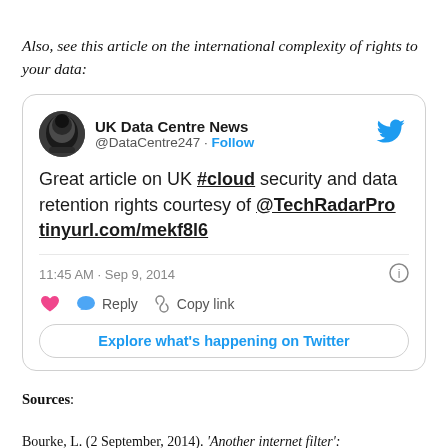Also, see this article on the international complexity of rights to your data:
[Figure (screenshot): Embedded tweet from UK Data Centre News (@DataCentre247) posted at 11:45 AM · Sep 9, 2014. Tweet text: 'Great article on UK #cloud security and data retention rights courtesy of @TechRadarPro tinyurl.com/mekf8l6'. Includes heart, reply and copy link actions, and an 'Explore what's happening on Twitter' button.]
Sources:
Bourke, L. (2 September, 2014). 'Another internet filter':